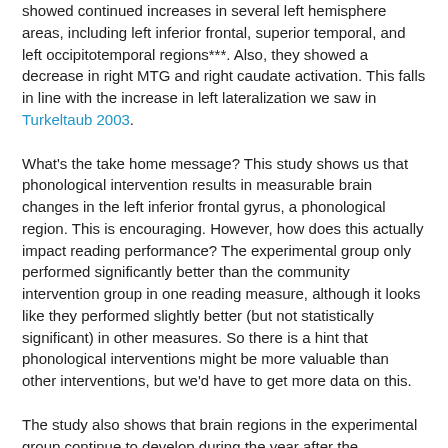showed continued increases in several left hemisphere areas, including left inferior frontal, superior temporal, and left occipitotemporal regions***. Also, they showed a decrease in right MTG and right caudate activation. This falls in line with the increase in left lateralization we saw in Turkeltaub 2003.
What's the take home message? This study shows us that phonological intervention results in measurable brain changes in the left inferior frontal gyrus, a phonological region. This is encouraging. However, how does this actually impact reading performance? The experimental group only performed significantly better than the community intervention group in one reading measure, although it looks like they performed slightly better (but not statistically significant) in other measures. So there is a hint that phonological interventions might be more valuable than other interventions, but we'd have to get more data on this.
The study also shows that brain regions in the experimental group continue to develop during the year after the intervention. When did these changes start – during intervention or afterwards? It's hard to tell because they don't